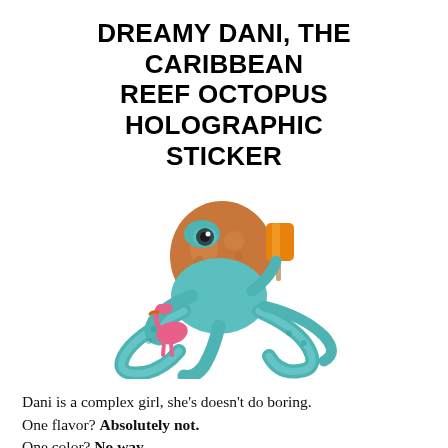DREAMY DANI, THE CARIBBEAN REEF OCTOPUS HOLOGRAPHIC STICKER
[Figure (illustration): Colorful illustration of a Caribbean reef octopus named Dani with teal/blue tentacles and orange-brown body, holding an orange popsicle in one arm and cradling a pink flamingo pool toy, drawn in a cartoon sticker style.]
Dani is a complex girl, she's doesn't do boring.
One flavor? Absolutely not.
One color? No way.
Well, except her flamingo companion who's always got her back (even if she's just a pool toy). Dani is always ready for a party and will totally bring the snacks, as complex as she is,